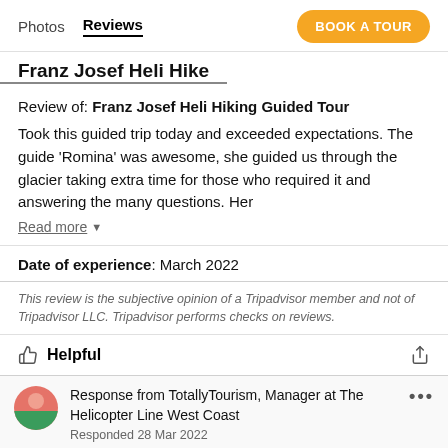Photos  Reviews  BOOK A TOUR
Franz Josef Heli Hike
Review of: Franz Josef Heli Hiking Guided Tour
Took this guided trip today and exceeded expectations. The guide ‘Romina’ was awesome, she guided us through the glacier taking extra time for those who required it and answering the many questions. Her
Read more
Date of experience: March 2022
This review is the subjective opinion of a Tripadvisor member and not of Tripadvisor LLC. Tripadvisor performs checks on reviews.
Helpful
Response from TotallyTourism, Manager at The Helicopter Line West Coast
Responded 28 Mar 2022
Kia ora Nick, Thanks you for taking the time to